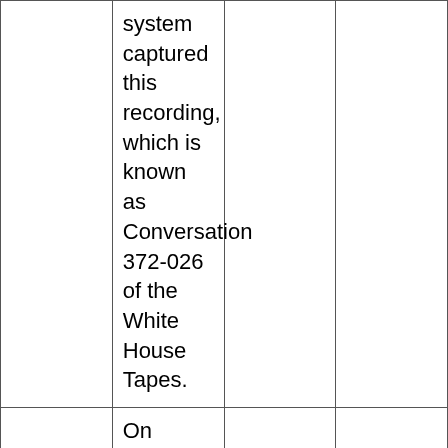|  | system captured this recording, which is known as Conversation 372-026 of the White House Tapes. |  |  |
|  | On October 25, 1972, President Richard M. Nixon and |  |  |